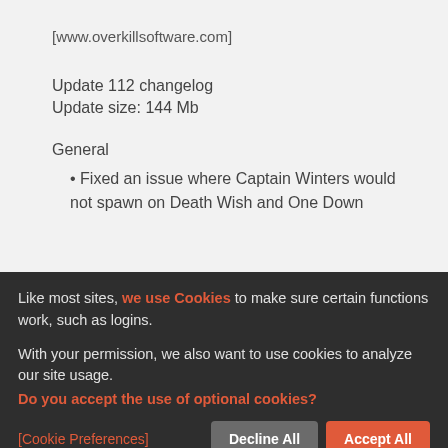[www.overkillsoftware.com]
Update 112 changelog
Update size: 144 Mb
General
Fixed an issue where Captain Winters would not spawn on Death Wish and One Down
Like most sites, we use Cookies to make sure certain functions work, such as logins.
With your permission, we also want to use cookies to analyze our site usage.
Do you accept the use of optional cookies?
[Cookie Preferences]
Decline All
Accept All